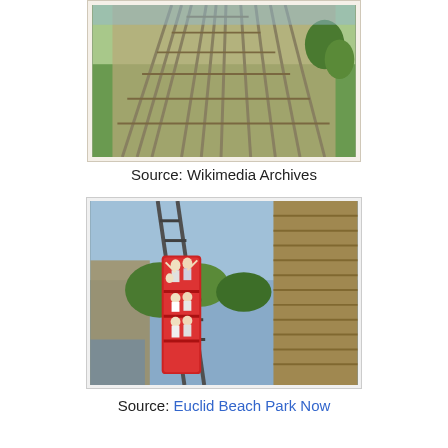[Figure (photo): Aerial view of wooden roller coaster tracks at an amusement park, multiple parallel tracks visible with green grass and trees in background]
Source: Wikimedia Archives
[Figure (photo): Riders on a red wooden roller coaster car ascending a steep hill, wooden coaster structure visible on both sides, trees in background]
Source: Euclid Beach Park Now